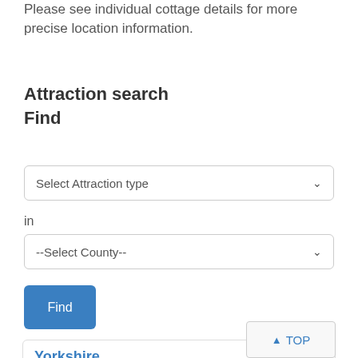Please see individual cottage details for more precise location information.
Attraction search
Find
Select Attraction type
in
--Select County--
Find
Yorkshire
Popular
Robin Hoods Bay
York Travel Guide